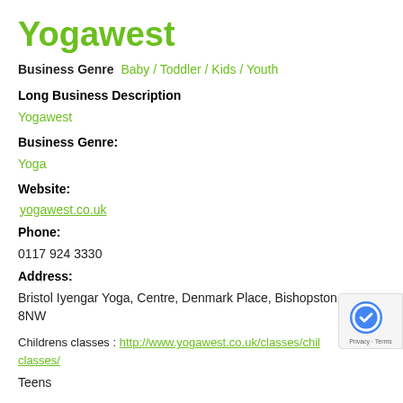Yogawest
Business Genre  Baby / Toddler / Kids / Youth
Long Business Description
Yogawest
Business Genre:
Yoga
Website:
yogawest.co.uk
Phone:
0117 924 3330
Address:
Bristol Iyengar Yoga, Centre, Denmark Place, Bishopston, BS7 8NW
Childrens classes : http://www.yogawest.co.uk/classes/childrens-classes/
Teens